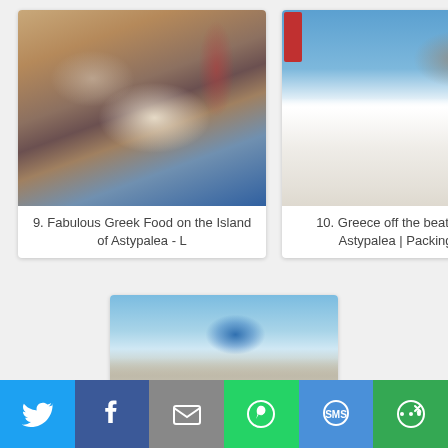[Figure (photo): Greek food on table with wine glasses and salad, card 9]
9. Fabulous Greek Food on the Island of Astypalea - L
[Figure (photo): White Greek village with castle on hill, blue sky, card 10]
10. Greece off the beaten path: Astypalea | Packing my
[Figure (photo): Greek island castle and white buildings with blue dome, card 11]
11. 7 reasons to fall in love with
[Figure (infographic): Social sharing bottom bar with Twitter, Facebook, Email, WhatsApp, SMS, More buttons]